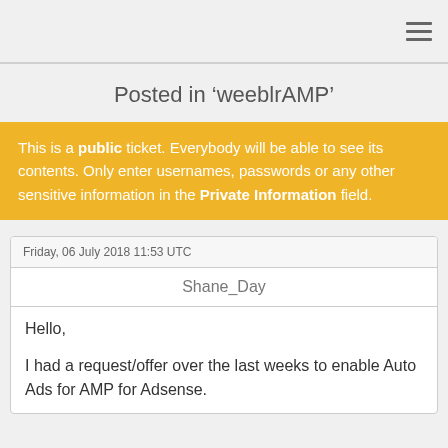≡
Posted in 'weeblrAMP'
This is a public ticket. Everybody will be able to see its contents. Only enter usernames, passwords or any other sensitive information in the Private Information field.
Friday, 06 July 2018 11:53 UTC
Shane_Day
Hello,

I had a request/offer over the last weeks to enable Auto Ads for AMP for Adsense.